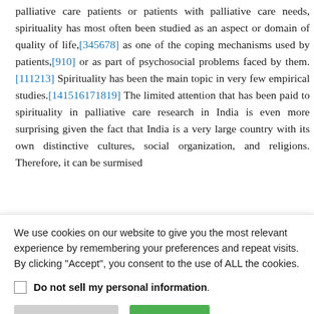palliative care patients or patients with palliative care needs, spirituality has most often been studied as an aspect or domain of quality of life,[345678] as one of the coping mechanisms used by patients,[910] or as part of psychosocial problems faced by them.[111213] Spirituality has been the main topic in very few empirical studies.[141516171819] The limited attention that has been paid to spirituality in palliative care research in India is even more surprising given the fact that India is a very large country with its own distinctive cultures, social organization, and religions. Therefore, it can be surmised
We use cookies on our website to give you the most relevant experience by remembering your preferences and repeat visits. By clicking "Accept", you consent to the use of ALL the cookies.
Do not sell my personal information.
Cookie Settings | Accept